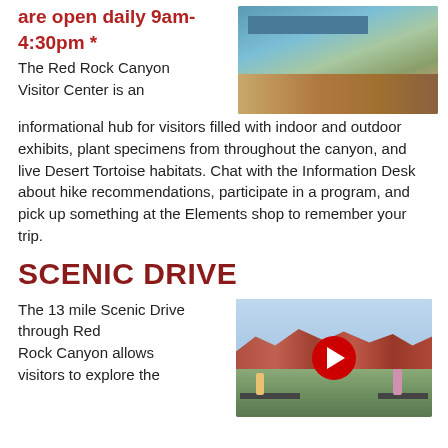are open daily 9am-4:30pm *
[Figure (photo): Exterior photo of the Red Rock Canyon Visitor Center building with desert plants]
The Red Rock Canyon Visitor Center is an informational hub for visitors filled with indoor and outdoor exhibits, plant specimens from throughout the canyon, and live Desert Tortoise habitats. Chat with the Information Desk about hike recommendations, participate in a program, and pick up something at the Elements shop to remember your trip.
SCENIC DRIVE
The 13 mile Scenic Drive through Red Rock Canyon allows visitors to explore the
[Figure (photo): Video thumbnail showing Red Rock Canyon scenic drive overlook with mountains, visitors at a viewing platform, and a YouTube play button overlay]